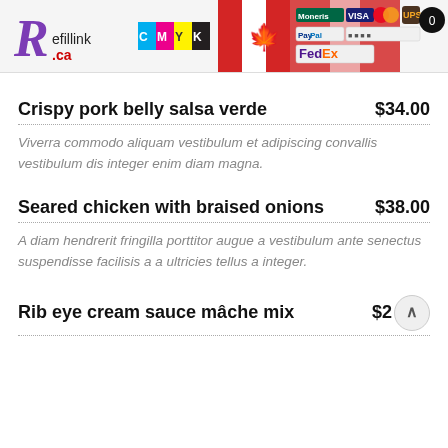[Figure (screenshot): Refillink.ca website header banner with logo, CMYK ink icons, Canadian flag, payment method logos (Moneris, VISA, Mastercard, UPS, PayPal, FedEx), and a cart icon showing 0]
Crispy pork belly salsa verde
Viverra commodo aliquam vestibulum et adipiscing convallis vestibulum dis integer enim diam magna.
Seared chicken with braised onions
A diam hendrerit fringilla porttitor augue a vestibulum ante senectus suspendisse facilisis a a ultricies tellus a integer.
Rib eye cream sauce mâche mix